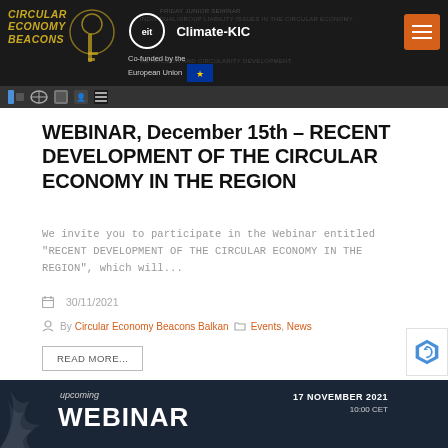[Figure (screenshot): Website header banner with dark background. Shows Circular Economy Beacons logo on left, EIT Climate-KIC logo with Co-funded by the European Union text in center, and orange hamburger menu button on right. Background shows faint text about webinar topics.]
WEBINAR, December 15th – RECENT DEVELOPMENT OF THE CIRCULAR ECONOMY IN THE REGION
We invite you to participate in the Webinar entitled "RECENT DEVELOPMENT OF THE CIRCULAR ECONOMY IN THE REGION", which will...
30/11/2021
By Circular Economy Beacons Balkan  Events, News
READ MORE...
[Figure (screenshot): Bottom banner with dark navy background showing upcoming WEBINAR text and date 17 NOVEMBER 2021 with time 10:00 CET, with decorative swirl graphic on left.]